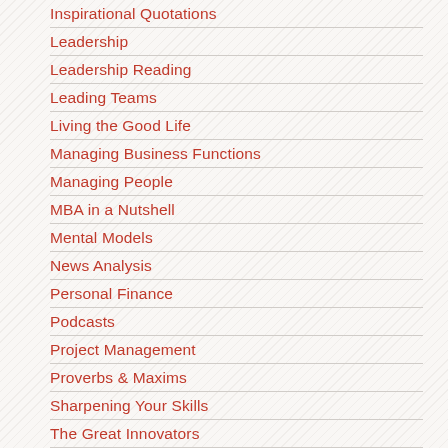Inspirational Quotations
Leadership
Leadership Reading
Leading Teams
Living the Good Life
Managing Business Functions
Managing People
MBA in a Nutshell
Mental Models
News Analysis
Personal Finance
Podcasts
Project Management
Proverbs & Maxims
Sharpening Your Skills
The Great Innovators